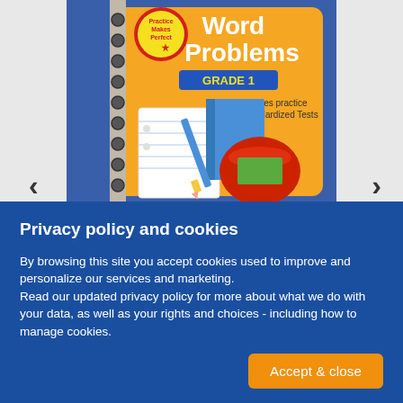[Figure (illustration): Book cover for 'Practice Makes Perfect Word Problems Grade 1' showing a spiral-bound workbook with school supplies (pencil, blue book, red mug) on a yellow/orange background. Includes badge saying 'Includes practice for Standardized Tests'.]
Privacy policy and cookies
By browsing this site you accept cookies used to improve and personalize our services and marketing. Read our updated privacy policy for more about what we do with your data, as well as your rights and choices - including how to manage cookies.